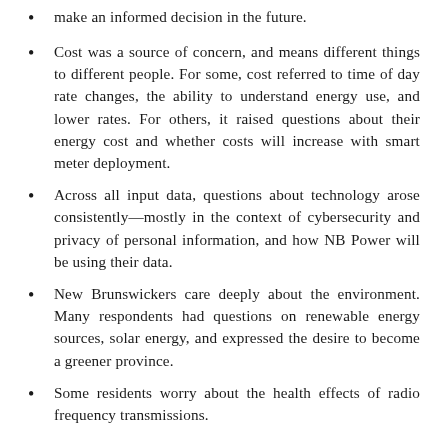make an informed decision in the future.
Cost was a source of concern, and means different things to different people. For some, cost referred to time of day rate changes, the ability to understand energy use, and lower rates. For others, it raised questions about their energy cost and whether costs will increase with smart meter deployment.
Across all input data, questions about technology arose consistently—mostly in the context of cybersecurity and privacy of personal information, and how NB Power will be using their data.
New Brunswickers care deeply about the environment. Many respondents had questions on renewable energy sources, solar energy, and expressed the desire to become a greener province.
Some residents worry about the health effects of radio frequency transmissions.